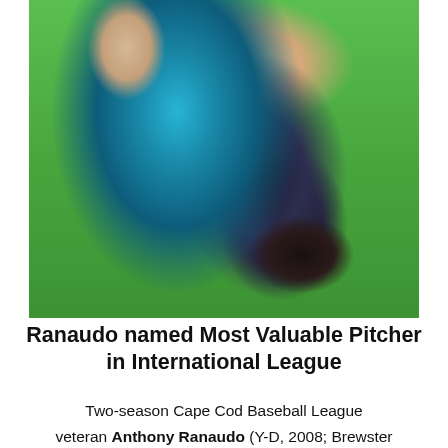[Figure (photo): Close-up photo of a baseball pitcher in a teal jersey holding a black glove, leaning forward in a pitching stance. The background shows a green grass field.]
Ranaudo named Most Valuable Pitcher in International League
Two-season Cape Cod Baseball League veteran Anthony Ranaudo (Y-D, 2008; Brewster